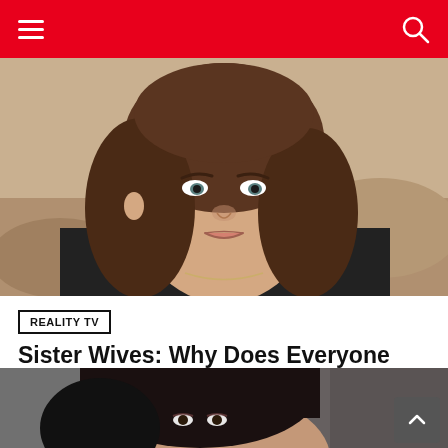Navigation header with hamburger menu and search icon
[Figure (photo): Close-up photo of a woman with brown wavy hair wearing a dark jacket, outdoors with a blurred desert/rocky background — appears to be Robyn Brown from Sister Wives]
REALITY TV
Sister Wives: Why Does Everyone Hate Robyn Brown?
by Lauren Rottman   about 8 hours ago
[Figure (photo): Partial photo of a dark-haired woman, cropped at bottom of page — appears to be another person from Sister Wives]